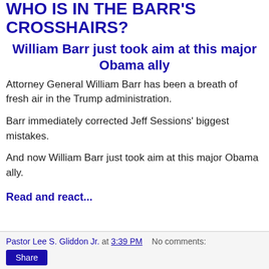WHO IS IN THE BARR'S CROSSHAIRS?
William Barr just took aim at this major Obama ally
Attorney General William Barr has been a breath of fresh air in the Trump administration.
Barr immediately corrected Jeff Sessions' biggest mistakes.
And now William Barr just took aim at this major Obama ally.
Read and react...
Pastor Lee S. Gliddon Jr. at 3:39 PM   No comments:   Share